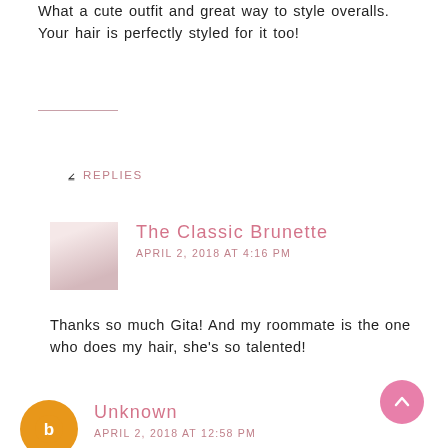What a cute outfit and great way to style overalls. Your hair is perfectly styled for it too!
REPLY
▾ REPLIES
The Classic Brunette
APRIL 2, 2018 AT 4:16 PM
Thanks so much Gita! And my roommate is the one who does my hair, she's so talented!
REPLY
Unknown
APRIL 2, 2018 AT 12:58 PM